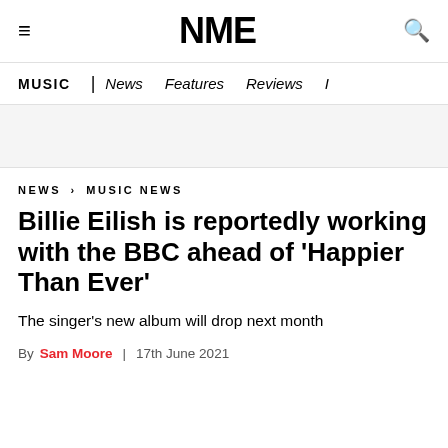NME
MUSIC | News Features Reviews I
NEWS › MUSIC NEWS
Billie Eilish is reportedly working with the BBC ahead of 'Happier Than Ever'
The singer's new album will drop next month
By Sam Moore | 17th June 2021